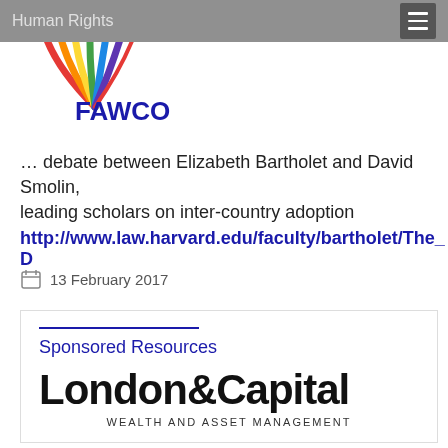Human Rights
[Figure (logo): FAWCO logo with colorful fan/arc design above the text FAWCO in blue]
… debate between Elizabeth Bartholet and David Smolin, leading scholars on inter-country adoption
http://www.law.harvard.edu/faculty/bartholet/The_D
13 February 2017
Sponsored Resources
[Figure (logo): London&Capital WEALTH AND ASSET MANAGEMENT logo]